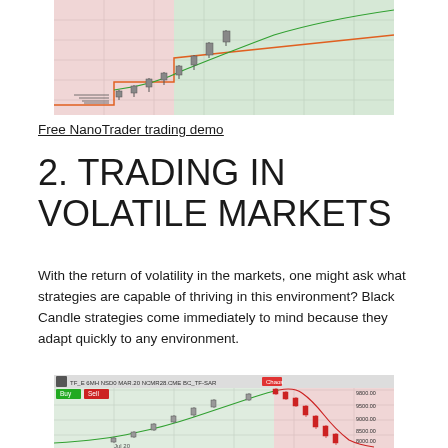[Figure (screenshot): Top portion of a NanoTrader candlestick chart showing candlesticks with green and red shaded regions and a stepped orange line overlay]
Free NanoTrader trading demo
2. TRADING IN VOLATILE MARKETS
With the return of volatility in the markets, one might ask what strategies are capable of thriving in this environment? Black Candle strategies come immediately to mind because they adapt quickly to any environment.
[Figure (screenshot): Bottom portion of a NanoTrader candlestick chart showing a market rise and sharp decline with Buy/Sell labels, green and red background zones, and price levels around 8000-9800]